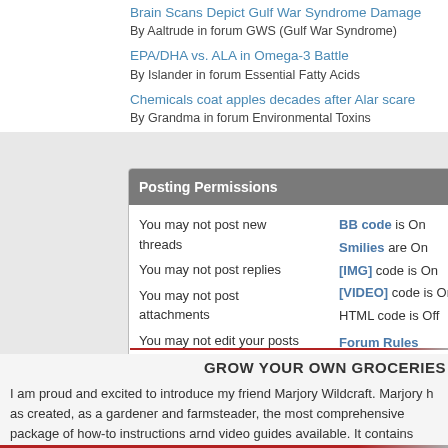Brain Scans Depict Gulf War Syndrome Damage
By Aaltrude in forum GWS (Gulf War Syndrome)
EPA/DHA vs. ALA in Omega-3 Battle
By Islander in forum Essential Fatty Acids
Chemicals coat apples decades after Alar scare
By Grandma in forum Environmental Toxins
Posting Permissions
| You may not post new threads | BB code is On |
| You may not post replies | Smilies are On |
| You may not post attachments | [IMG] code is On |
| You may not edit your posts | [VIDEO] code is On |
|  | HTML code is Off |
|  | Forum Rules |
GROW YOUR OWN GROCERIES
I am proud and excited to introduce my friend Marjory Wildcraft. Marjory has created, as a gardener and farmsteader, the most comprehensive package of how-to instructions and video guides available. It contains three disks: two DVDs of hands-on how-tos, and one containing an audio version of the book. This one collection of video and print DIY resources will replace all the how-to books on your shelf with Marjory's words. Use this link to let Marjory tell her own amazing story. I promise, yo